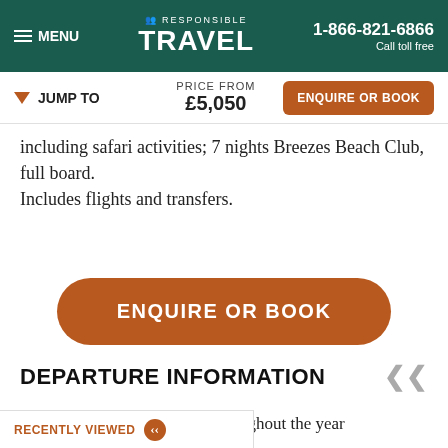MENU | RESPONSIBLE TRAVEL | 1-866-821-6866 Call toll free
JUMP TO   PRICE FROM £5,050   ENQUIRE OR BOOK
including safari activities; 7 nights Breezes Beach Club, full board. Includes flights and transfers.
ENQUIRE OR BOOK
DEPARTURE INFORMATION
This trip can be tailor made throughout the year to suit your requirements
RECENTLY VIEWED